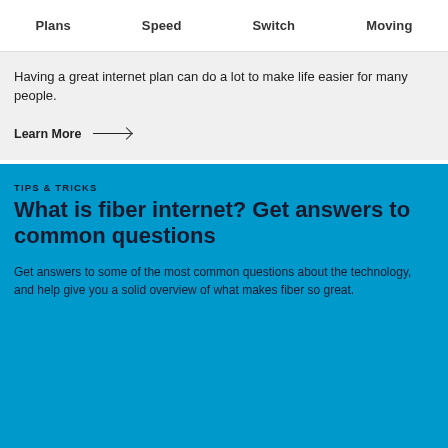Plans   Speed   Switch   Moving
Having a great internet plan can do a lot to make life easier for many people.
Learn More →
TIPS & TRICKS
What is fiber internet? Get answers to common questions
Get answers to some of the most common questions about the technology, and help give you a solid overview of what makes fiber so great.